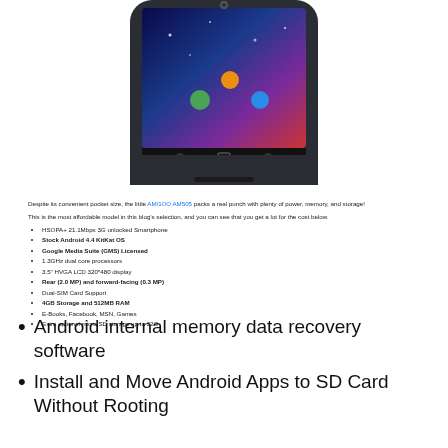[Figure (photo): Bottom portion of an Android smartphone (AMGOO AM505) shown at an angle, with colorful wallpaper visible on screen and hardware navigation buttons at the bottom.]
Despite its convenient pocket size, the little AMGOO AM505 packs a real punch with plenty of power, memory, and storage!
This is the most affordable model in this blog's selection, and you can see that you get a lot for the cost below.
HSOPA+ 21.1Mbps 3G unlocked Smartphone
Stock Android 4.4 KitKat OS
Google Media Suite (GMS) Licensed
1.3GHz dual core processors
3.5" HVGA LCD 320*480 display
Rear (2.0 MP) and forward-facing (0.3 MP)
Dual-SIM Card Support
4GB Storage and 512MB RAM
E-Books, Facebook, MSN, Games
Extra optional micro SD storage up to 32G
Android internal memory data recovery software
Install and Move Android Apps to SD Card Without Rooting